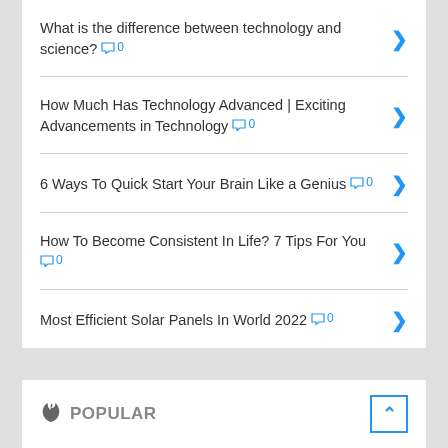What is the difference between technology and science? 💬 0
How Much Has Technology Advanced | Exciting Advancements in Technology 💬 0
6 Ways To Quick Start Your Brain Like a Genius 💬 0
How To Become Consistent In Life? 7 Tips For You 💬 0
Most Efficient Solar Panels In World 2022 💬 0
🔥 POPULAR